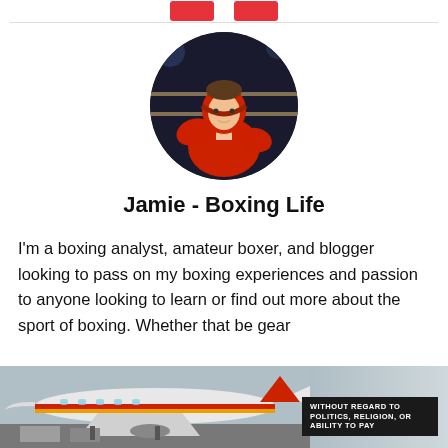[Figure (other): Two red call-to-action buttons at top of page]
[Figure (photo): Circular profile photo of a boxer wearing red headgear and red gloves, fighting in a boxing ring]
Jamie - Boxing Life
I'm a boxing analyst, amateur boxer, and blogger looking to pass on my boxing experiences and passion to anyone looking to learn or find out more about the sport of boxing. Whether that be gear
[Figure (photo): Advertisement banner showing cargo aircraft with text 'WITHOUT REGARD TO POLITICS, RELIGION, OR ABILITY TO PAY']